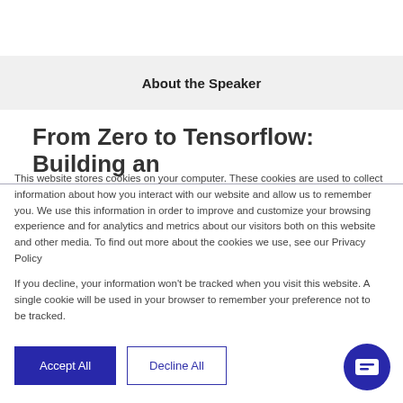About the Speaker
From Zero to Tensorflow: Building an
This website stores cookies on your computer. These cookies are used to collect information about how you interact with our website and allow us to remember you. We use this information in order to improve and customize your browsing experience and for analytics and metrics about our visitors both on this website and other media. To find out more about the cookies we use, see our Privacy Policy
If you decline, your information won't be tracked when you visit this website. A single cookie will be used in your browser to remember your preference not to be tracked.